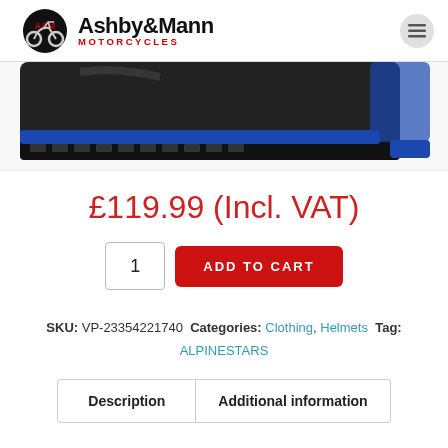[Figure (logo): Ashby & Mann Motorcycles logo with motorcycle graphic]
[Figure (photo): Motorcycle boot product photo, black with blue accents, partial view showing sole and lower portion]
£119.99 (Incl. VAT)
1 ADD TO CART
SKU: VP-23354221740 Categories: Clothing, Helmets Tag: ALPINESTARS
Description   Additional information